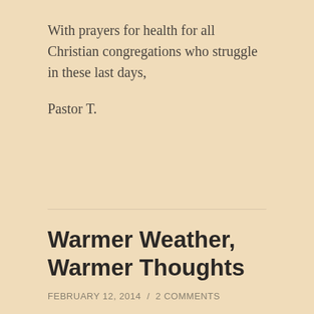With prayers for health for all Christian congregations who struggle in these last days,
Pastor T.
Warmer Weather, Warmer Thoughts
FEBRUARY 12, 2014 / 2 COMMENTS